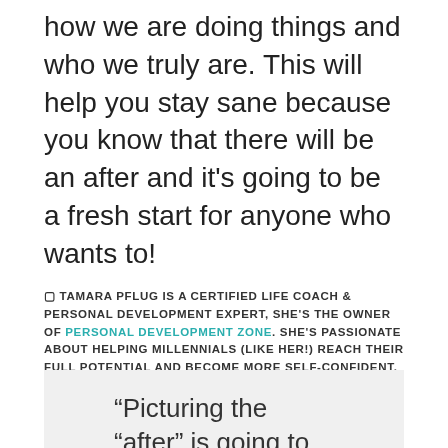how we are doing things and who we truly are. This will help you stay sane because you know that there will be an after and it's going to be a fresh start for anyone who wants to!
🔲 TAMARA PFLUG IS A CERTIFIED LIFE COACH & PERSONAL DEVELOPMENT EXPERT, SHE'S THE OWNER OF PERSONAL DEVELOPMENT ZONE. SHE'S PASSIONATE ABOUT HELPING MILLENNIALS (LIKE HER!) REACH THEIR FULL POTENTIAL AND BECOME MORE SELF-CONFIDENT. THROUGH HER BLOG AND PODCAST, YOU CAN LEARN HOW TO BRING YOUR HIDDEN CONFIDENCE OUT AND START LIVING THE LIFE YOU WANT TO LIVE!
“Pickering the “after” is going to keep you sane while all of